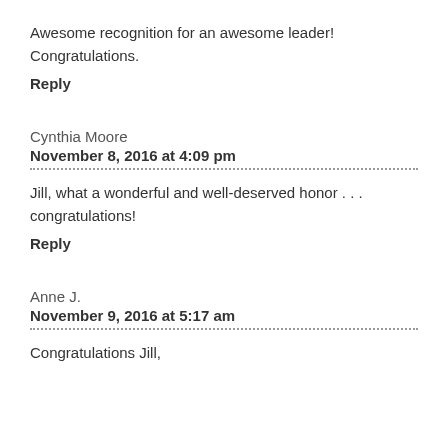Awesome recognition for an awesome leader! Congratulations.
Reply
Cynthia Moore
November 8, 2016 at 4:09 pm
Jill, what a wonderful and well-deserved honor . . . congratulations!
Reply
Anne J.
November 9, 2016 at 5:17 am
Congratulations Jill,